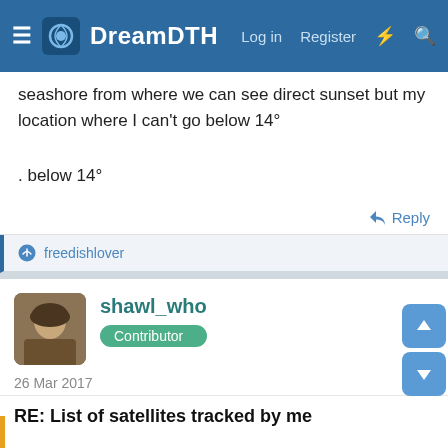DreamDTH — Log in  Register
seashore from where we can see direct sunset but my location where I can't go below 14°
. below 14°
Reply
freedishlover
shawl_who
Contributor
26 Mar 2017
RE: List of satellites tracked by me